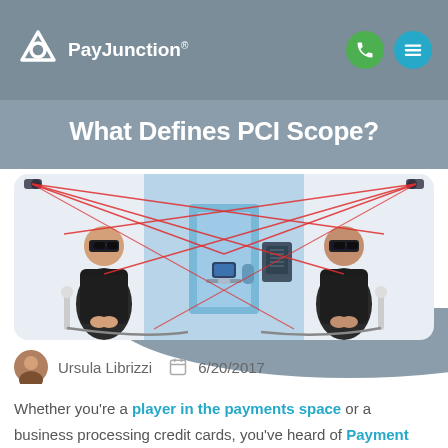PayJunction
What Defines PCI Scope?
[Figure (illustration): Two illustrated security guards in black suits and sunglasses flanking an entrance with red laser security beams, a keypad, and a laptop on a stand. Security camera visible above.]
Ursula Librizzi   6/20/2017
Whether you're a player in the payments space or a business processing credit cards, you've heard of Payment Card Industry (PCI) compliance. With the intention to optimize security around credit and